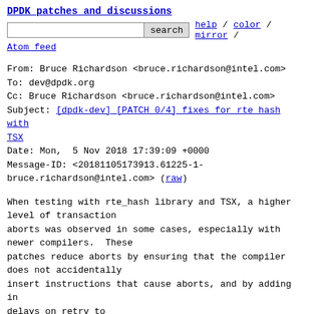DPDK patches and discussions
search  help / color / mirror / Atom feed
From: Bruce Richardson <bruce.richardson@intel.com>
To: dev@dpdk.org
Cc: Bruce Richardson <bruce.richardson@intel.com>
Subject: [dpdk-dev] [PATCH 0/4] fixes for rte hash with TSX
Date: Mon,  5 Nov 2018 17:39:09 +0000
Message-ID: <20181105173913.61225-1-bruce.richardson@intel.com> (raw)
When testing with rte_hash library and TSX, a higher level of transaction
aborts was observed in some cases, especially with newer compilers.  These
patches reduce aborts by ensuring that the compiler does not accidentally
insert instructions that cause aborts, and by adding in delays on retry to
avoid repeated collisions.
Bruce Richardson (2):
  eal/x86: reduce contention when retrying TSX
  test/test: improve output for hash read-write test
Yipeng Wang (2):
  hash: fix extra TSX collisions with newer gcc